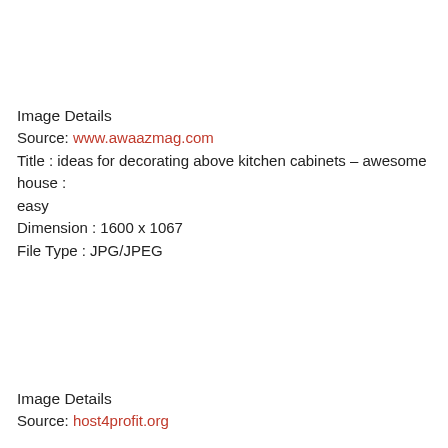Image Details
Source: www.awaazmag.com
Title : ideas for decorating above kitchen cabinets – awesome house : easy
Dimension : 1600 x 1067
File Type : JPG/JPEG
Image Details
Source: host4profit.org